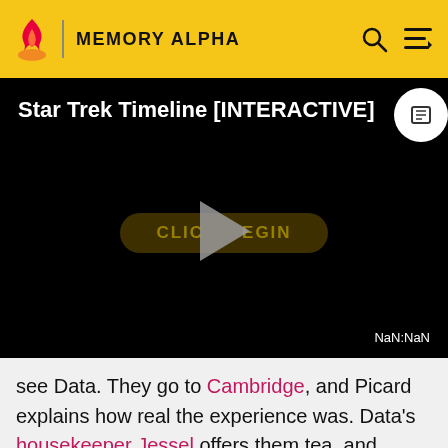MEMORY ALPHA
[Figure (screenshot): Star Trek Timeline [INTERACTIVE] video player with black background, play button overlay, and a button labeled CLICK TO BEGIN. NaN:NaN timestamp shown at bottom right.]
see Data. They go to Cambridge, and Picard explains how real the experience was. Data's housekeeper Jessel offers them tea, and Picard accepts. As Picard and La Forge attempt to exchange seats with Data's cats (who seem to be sitting on every available chair, shelf, or other